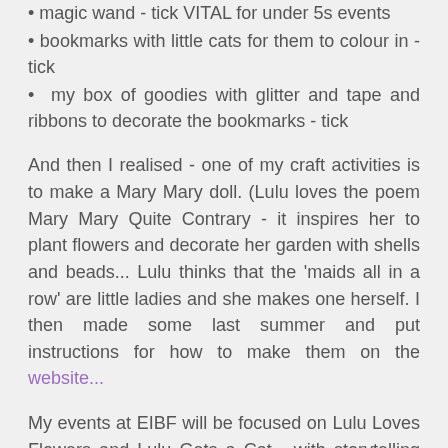• magic wand - tick VITAL for under 5s events
• bookmarks with little cats for them to colour in - tick
• my box of goodies with glitter and tape and ribbons to decorate the bookmarks - tick
And then I realised - one of my craft activities is to make a Mary Mary doll. (Lulu loves the poem Mary Mary Quite Contrary - it inspires her to plant flowers and decorate her garden with shells and beads... Lulu thinks that the 'maids all in a row' are little ladies and she makes one herself. I then made some last summer and put instructions for how to make them on the website...
My events at EIBF will be focused on Lulu Loves Flowers and Lulu Gets a Cat - with storytelling and then craft. I ordered some wooden 'bodies' to act as the bases for the dolls but when they arrived they were far too light in colour - Lulu's dolls look just like her and that's important.
SO I spent the last few weeks painting the bodies - now these